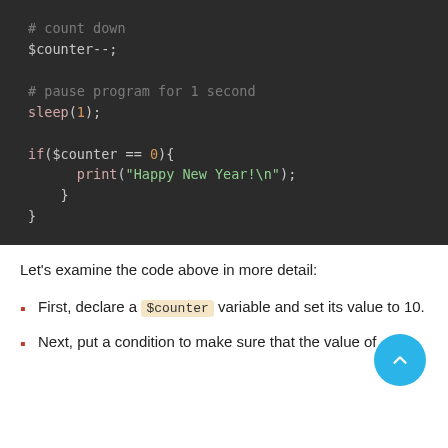[Figure (screenshot): Code block showing PHP countdown snippet with comments, $counter--, sleep(1), and if($counter == 0) print statement]
Let's examine the code above in more detail:
First, declare a $counter variable and set its value to 10.
Next, put a condition to make sure that the value of